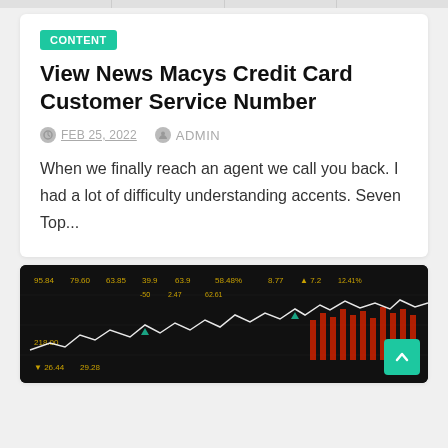CONTENT
View News Macys Credit Card Customer Service Number
FEB 25, 2022  ADMIN
When we finally reach an agent we call you back. I had a lot of difficulty understanding accents. Seven Top...
[Figure (photo): Stock market trading board showing financial data with numbers and a line chart overlay on a dark background]